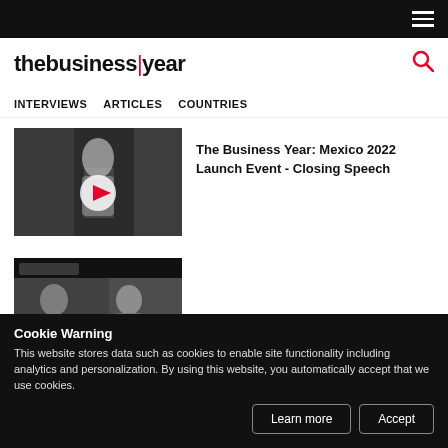thebusiness|year
INTERVIEWS  ARTICLES  COUNTRIES
[Figure (screenshot): Video thumbnail showing a woman speaking at a podium with a play button overlay]
The Business Year: Mexico 2022 Launch Event - Closing Speech
[Figure (screenshot): Video thumbnail showing two people in a panel discussion setting]
Cookie Warning
This website stores data such as cookies to enable site functionality including analytics and personalization. By using this website, you automatically accept that we use cookies.
[Figure (screenshot): Partially visible third video thumbnail at the bottom of the page]